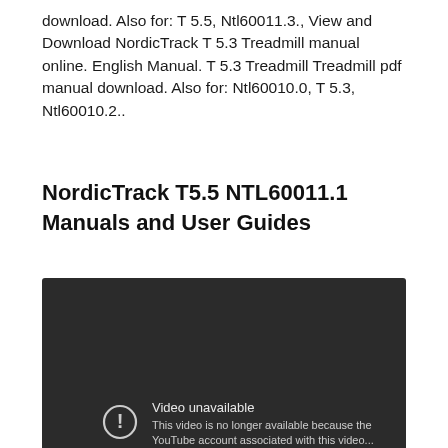download. Also for: T 5.5, Ntl60011.3., View and Download NordicTrack T 5.3 Treadmill manual online. English Manual. T 5.3 Treadmill Treadmill pdf manual download. Also for: Ntl60010.0, T 5.3, Ntl60010.2..
NordicTrack T5.5 NTL60011.1 Manuals and User Guides
[Figure (screenshot): Embedded video player showing 'Video unavailable' error. Dark background with a warning icon (circle with exclamation mark) and text: 'Video unavailable. This video is no longer available because the YouTube account associated with this video...']